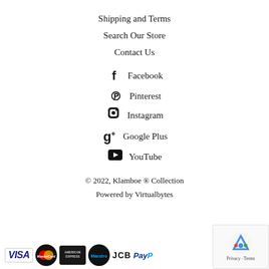Shipping and Terms
Search Our Store
Contact Us
f  Facebook
Pinterest
Instagram
Google Plus
YouTube
© 2022, Klamboe ® Collection
Powered by Virtualbytes
[Figure (logo): Payment method logos: VISA, MasterCard, American Express, Maestro, JCB, PayPal]